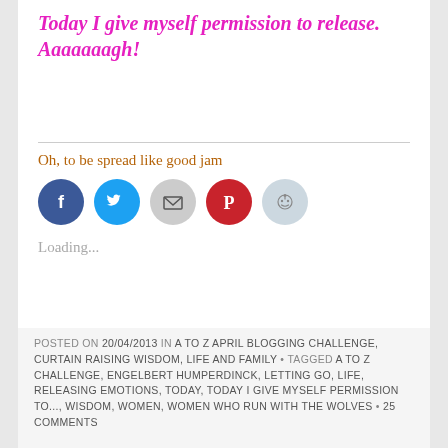Today I give myself permission to release. Aaaaaaagh!
Oh, to be spread like good jam
[Figure (infographic): Row of five social sharing icon circles: Facebook (blue), Twitter (light blue), Email (gray), Pinterest (red), Reddit (light blue/gray)]
Loading...
POSTED ON 20/04/2013 IN A TO Z APRIL BLOGGING CHALLENGE, CURTAIN RAISING WISDOM, LIFE AND FAMILY • TAGGED A TO Z CHALLENGE, ENGELBERT HUMPERDINCK, LETTING GO, LIFE, RELEASING EMOTIONS, TODAY, TODAY I GIVE MYSELF PERMISSION TO..., WISDOM, WOMEN, WOMEN WHO RUN WITH THE WOLVES • 25 COMMENTS